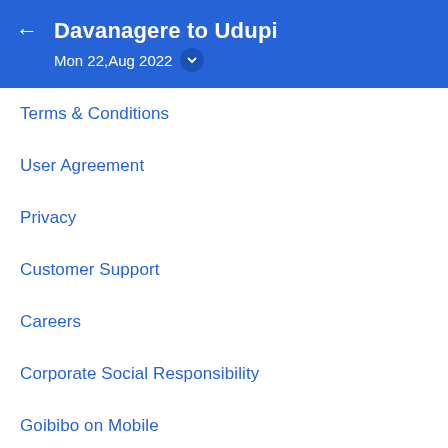Davanagere to Udupi — Mon 22,Aug 2022
Terms & Conditions
User Agreement
Privacy
Customer Support
Careers
Corporate Social Responsibility
Goibibo on Mobile
Goibibo TV Advertisement
Technology@Goibibo
FAQs
Advertise with Us